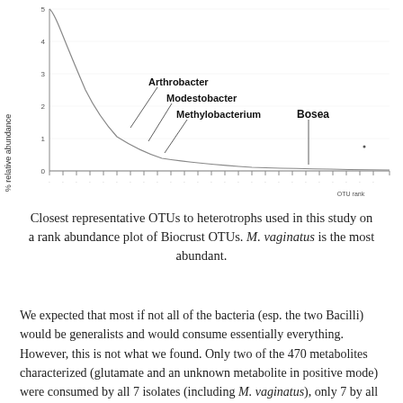[Figure (continuous-plot): Rank abundance curve (Whittaker plot) of Biocrust OTUs. Y-axis: % relative abundance (0 to 5), X-axis: OTU rank. The curve descends steeply from the left. Four labeled taxa are annotated with leader lines: Arthrobacter, Modestobacter, Methylobacterium (clustered mid-left), and Bosea (far right, low abundance). A single small dot appears at the far right near Bosea.]
Closest representative OTUs to heterotrophs used in this study on a rank abundance plot of Biocrust OTUs. M. vaginatus is the most abundant.
We expected that most if not all of the bacteria (esp. the two Bacilli) would be generalists and would consume essentially everything. However, this is not what we found. Only two of the 470 metabolites characterized (glutamate and an unknown metabolite in positive mode) were consumed by all 7 isolates (including M. vaginatus), only 7 by all of the heterotrophs and about 40% weren't